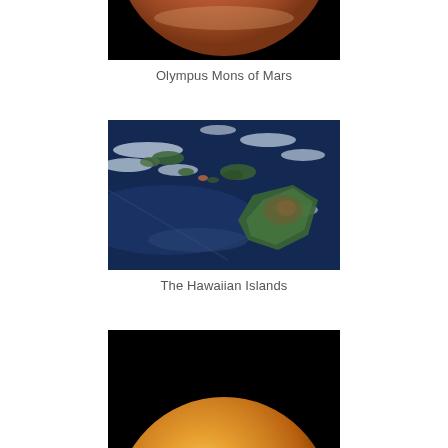[Figure (photo): Partial view of Mars (reddish-orange planet surface) against a black background, showing only the bottom portion of the planet]
Olympus Mons of Mars
[Figure (photo): Aerial/satellite view of the Hawaiian Islands from space, showing green islands against deep blue ocean with white clouds]
The Hawaiian Islands
[Figure (photo): Partial view of a yellow-orange planet (Venus or similar) against a black background, showing only the top portion of the planet]